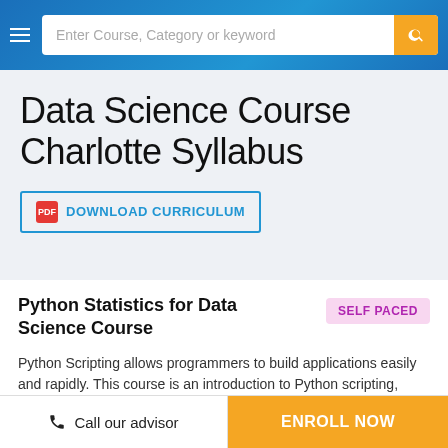Enter Course, Category or keyword
Data Science Course Charlotte Syllabus
DOWNLOAD CURRICULUM
Python Statistics for Data Science Course
SELF PACED
Python Scripting allows programmers to build applications easily and rapidly. This course is an introduction to Python scripting, which focuses on the concepts of Python, it will  ... Read More
WEEK 2  •  6 Modules  •  18 Hours  •  14 Skills
Call our advisor
ENROLL NOW